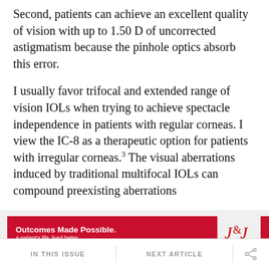Second, patients can achieve an excellent quality of vision with up to 1.50 D of uncorrected astigmatism because the pinhole optics absorb this error.
I usually favor trifocal and extended range of vision IOLs when trying to achieve spectacle independence in patients with regular corneas. I view the IC-8 as a therapeutic option for patients with irregular corneas.3 The visual aberrations induced by traditional multifocal IOLs can compound preexisting aberrations from [obscured by ad] the techn[obscured by ad]
[Figure (other): Johnson & Johnson Vision advertisement banner: red background with white text 'Outcomes Made Possible. A patient's life, lived better.' with a 'Learn More' button and J&J Vision logo.]
IN THIS ISSUE   NEXT ARTICLE   [share icon]